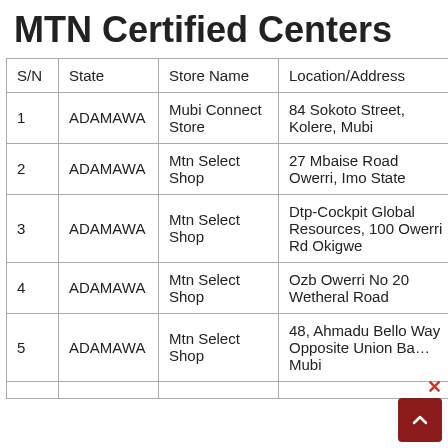MTN Certified Centers
| S/N | State | Store Name | Location/Address |
| --- | --- | --- | --- |
| 1 | ADAMAWA | Mubi Connect Store | 84 Sokoto Street, Kolere, Mubi |
| 2 | ADAMAWA | Mtn Select Shop | 27 Mbaise Road Owerri, Imo State |
| 3 | ADAMAWA | Mtn Select Shop | Dtp-Cockpit Global Resources, 100 Owerri Rd Okigwe |
| 4 | ADAMAWA | Mtn Select Shop | Ozb Owerri No 20 Wetheral Road |
| 5 | ADAMAWA | Mtn Select Shop | 48, Ahmadu Bello Way, Opposite Union Bank, Mubi |